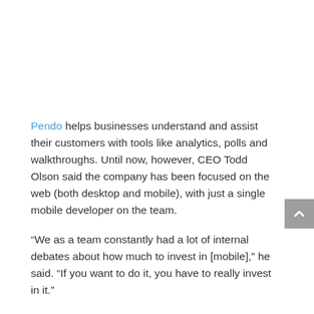Pendo helps businesses understand and assist their customers with tools like analytics, polls and walkthroughs. Until now, however, CEO Todd Olson said the company has been focused on the web (both desktop and mobile), with just a single mobile developer on the team.
“We as a team constantly had a lot of internal debates about how much to invest in [mobile],” he said. “If you want to do it, you have to really invest in it.”
That’s why the company has made its first acquisition — it’s buying Insert, a mobile marketing startup based